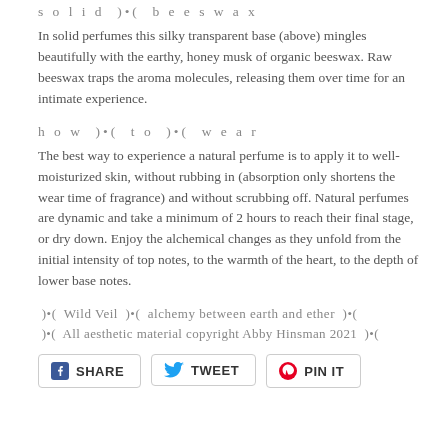s o l i d )•( b e e s w a x
In solid perfumes this silky transparent base (above) mingles beautifully with the earthy, honey musk of organic beeswax. Raw beeswax traps the aroma molecules, releasing them over time for an intimate experience.
h o w )•( t o )•( w e a r
The best way to experience a natural perfume is to apply it to well-moisturized skin, without rubbing in (absorption only shortens the wear time of fragrance) and without scrubbing off. Natural perfumes are dynamic and take a minimum of 2 hours to reach their final stage, or dry down. Enjoy the alchemical changes as they unfold from the initial intensity of top notes, to the warmth of the heart, to the depth of lower base notes.
)•(  Wild Veil  )•(  alchemy between earth and ether  )•(
)•(  All aesthetic material copyright Abby Hinsman 2021  )•(
SHARE
TWEET
PIN IT